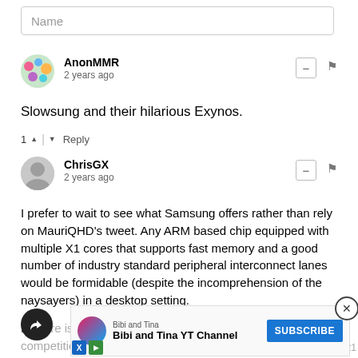Name
AnonMMR
2 years ago
Slowsung and their hilarious Exynos.
1  |  Reply
ChrisGX
2 years ago
I prefer to wait to see what Samsung offers rather than rely on MauriQHD's tweet. Any ARM based chip equipped with multiple X1 cores that supports fast memory and a good number of industry standard peripheral interconnect lanes would be formidable (despite the incomprehension of the naysayers) in a desktop setting.
If there is anything to this rumour Samsung would still have competition from Qualcomm with whatever is in line to supersede... 'compu... 2021
[Figure (screenshot): YouTube subscribe ad bar: Bibi and Tina YT Channel with Subscribe button]